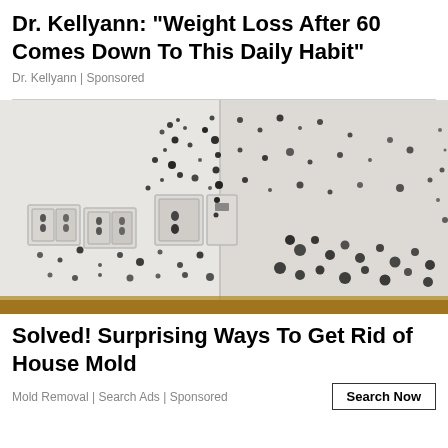Dr. Kellyann: "Weight Loss After 60 Comes Down To This Daily Habit"
Dr. Kellyann | Sponsored
[Figure (photo): Photo of black mold growing on white walls in a corner of a room, with electrical outlets visible on the left wall and wooden baseboard at the bottom.]
Solved! Surprising Ways To Get Rid of House Mold
Mold Removal | Search Ads | Sponsored